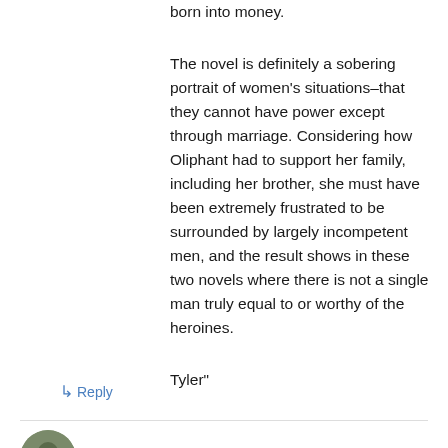born into money.
The novel is definitely a sobering portrait of women's situations–that they cannot have power except through marriage. Considering how Oliphant had to support her family, including her brother, she must have been extremely frustrated to be surrounded by largely incompetent men, and the result shows in these two novels where there is not a single man truly equal to or worthy of the heroines.
Tyler"
↳ Reply
Ellen Moody on August 6, 2009 at 5:23 am